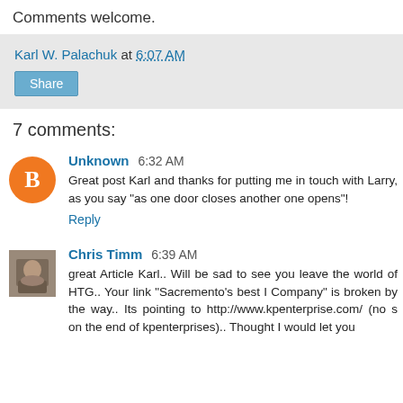Comments welcome.
Karl W. Palachuk at 6:07 AM
Share
7 comments:
Unknown 6:32 AM
Great post Karl and thanks for putting me in touch with Larry, as you say "as one door closes another one opens"!
Reply
Chris Timm 6:39 AM
great Article Karl.. Will be sad to see you leave the world of HTG.. Your link "Sacremento's best I Company" is broken by the way.. Its pointing to http://www.kpenterprise.com/ (no s on the end of kpenterprises).. Thought I would let you